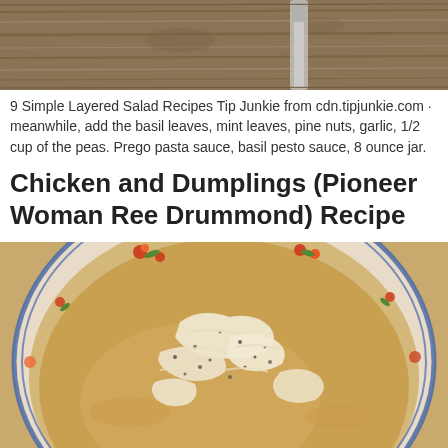[Figure (photo): Close-up photo of silverware/knife on a wooden surface background]
9 Simple Layered Salad Recipes Tip Junkie from cdn.tipjunkie.com · meanwhile, add the basil leaves, mint leaves, pine nuts, garlic, 1/2 cup of the peas. Prego pasta sauce, basil pesto sauce, 8 ounce jar.
Chicken and Dumplings (Pioneer Woman Ree Drummond) Recipe
[Figure (photo): Photo of a bowl of chicken and dumplings in a decorative floral-rimmed bowl, showing shredded chicken and dumplings in broth with black pepper]